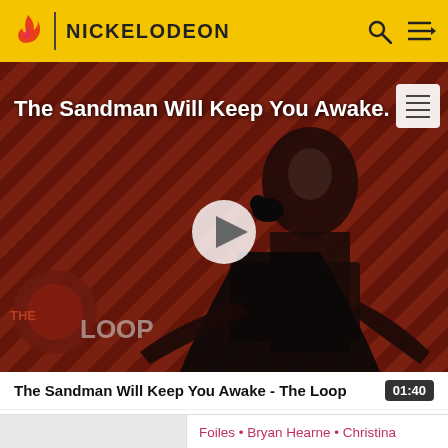NICKELODEON
[Figure (screenshot): Video thumbnail for 'The Sandman Will Keep You Awake - The Loop' showing a dark figure in a black cloak against a diagonal striped red/dark background with The Loop logo, with a play button overlay]
The Sandman Will Keep You Awake - The Loop
01:40
Foiles • Bryan Hearne • Christina Kirkman • Shane Lyons • Giovonnie Samuels • Jamie Lynn Spears • Kyle Sullivan • Kianna